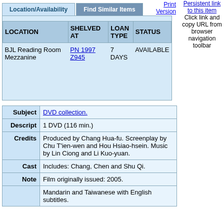Persistent link to this item Click link and copy URL from browser navigation toolbar
| LOCATION | SHELVED AT | LOAN TYPE | STATUS |
| --- | --- | --- | --- |
| BJL Reading Room Mezzanine | PN 1997 Z945 | 7 DAYS | AVAILABLE |
| Subject | Descript | Credits | Cast | Note |  |
| --- | --- | --- | --- | --- | --- |
| Subject | DVD collection. |
| Descript | 1 DVD (116 min.) |
| Credits | Produced by Chang Hua-fu. Screenplay by Chu T'ien-wen and Hou Hsiao-hsein. Music by Lin Ciong and Li Kuo-yuan. |
| Cast | Includes: Chang, Chen and Shu Qi. |
| Note | Film originally issued: 2005. |
|  | Mandarin and Taiwanese with English subtitles. |